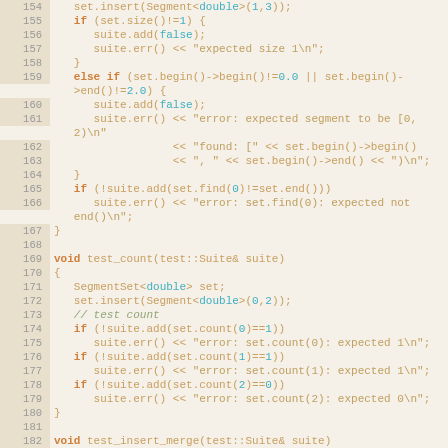Source code listing, lines 154-182, C++ segment set test functions